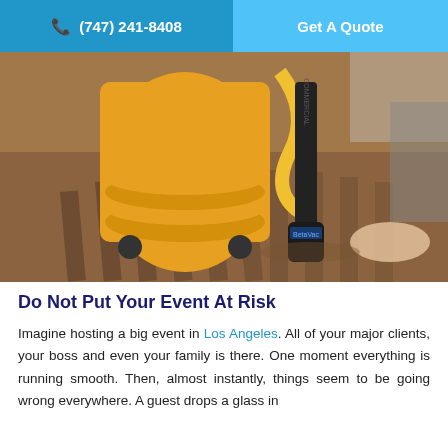(747) 241-8408   Get A Quote
[Figure (photo): A cleaning worker in a yellow uniform apron next to a commercial vacuum cleaner (BetaVac) on a wooden floor, with shadows creating striped patterns on the floor. Yellow hoses visible in background.]
Do Not Put Your Event At Risk
Imagine hosting a big event in Los Angeles. All of your major clients, your boss and even your family is there. One moment everything is running smooth. Then, almost instantly, things seem to be going wrong everywhere. A guest drops a glass in